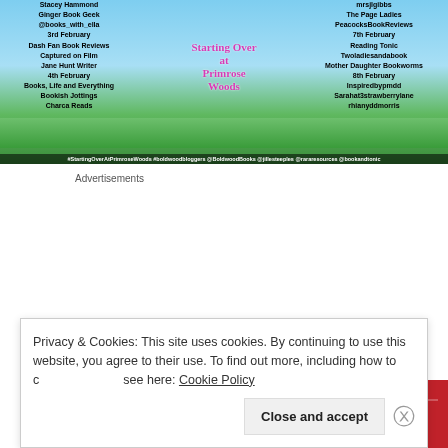[Figure (illustration): Book blog tour banner for 'Starting Over at Primrose Woods' showing blogger names on left and right sides, book cover in center with illustrated scene of woman and spaniel dog in a meadow, hashtags at bottom: #StartingOverAtPrimroseWoods #boldwoodbloggers @BoldwoodBooks @jillesteeples @rararesources @bookandtonic]
Advertisements
[Figure (illustration): Longreads advertisement on red background with circular L logo, text reads 'LONGREADS' and 'The best stories on']
Privacy & Cookies: This site uses cookies. By continuing to use this website, you agree to their use. To find out more, including how to control cookies, see here: Cookie Policy